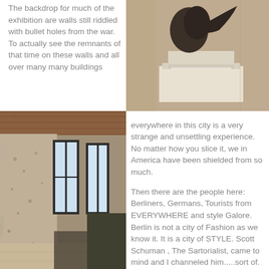The backdrop for much of the exhibition are walls still riddled with bullet holes from the war. To actually see the remnants of that time on these walls and all over many many buildings
[Figure (photo): Close-up photo of a dark bronze sculpture on a white pedestal against a beige/tan wall]
[Figure (photo): Interior hallway photo showing bullet-hole-riddled walls with tall windows letting in light]
everywhere in this city is a very strange and unsettling experience. No matter how you slice it, we in America have been shielded from so much.

Then there are the people here: Berliners, Germans, Tourists from EVERYWHERE and style Galore. Berlin is not a city of Fashion as we know it. It is a city of STYLE. Scott Schuman , The Sartorialist, came to mind and I channeled him.....sort of. You'll see.